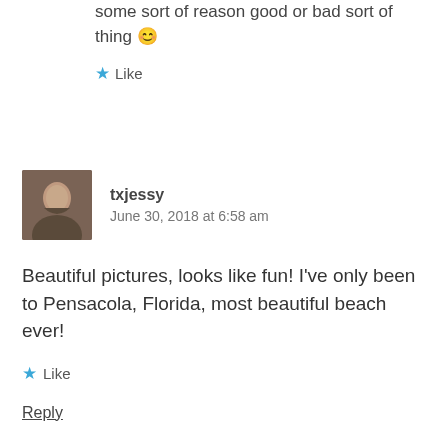some sort of reason good or bad sort of thing 😊
★ Like
txjessy
June 30, 2018 at 6:58 am
Beautiful pictures, looks like fun! I've only been to Pensacola, Florida, most beautiful beach ever!
★ Like
Reply